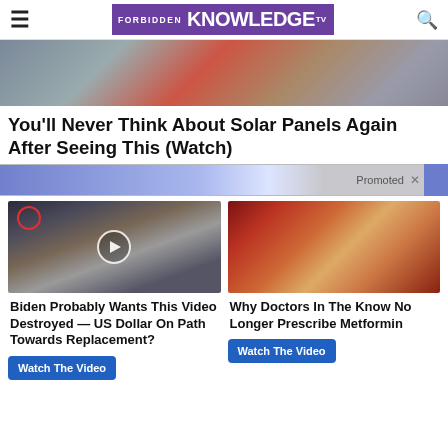FORBIDDEN KNOWLEDGE TV
[Figure (photo): Hero image showing solar panels and tools, partially cropped]
You'll Never Think About Solar Panels Again After Seeing This (Watch)
[Figure (photo): Promotional banner strip with blue gradient, labeled Promoted with X close button]
[Figure (photo): Thumbnail of group of people at CIA headquarters with a red circle and play button overlay]
Biden Probably Wants This Video Destroyed — US Dollar On Path Towards Replacement?
Watch The Video
[Figure (photo): Medical illustration of internal organs, reddish brown tones]
Why Doctors In The Know No Longer Prescribe Metformin
Watch The Video